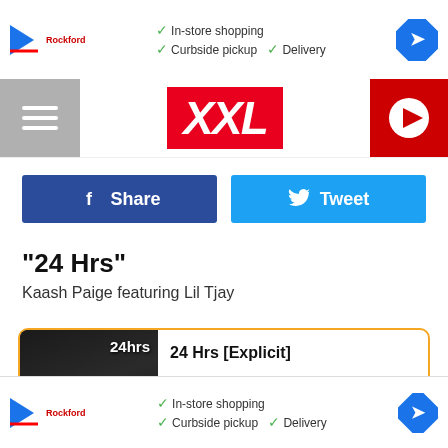[Figure (screenshot): Top ad banner with play icon, Rockford branding, In-store shopping, Curbside pickup, Delivery checkmarks, and navigation arrow]
[Figure (logo): XXL magazine logo in red italic block letters on white nav bar with hamburger menu and red play button]
[Figure (screenshot): Facebook Share button (dark blue) and Tweet button (light blue) social sharing row]
"24 Hrs"
Kaash Paige featuring Lil Tjay
[Figure (screenshot): Amazon product card with orange border showing 24hrs album art and Buy Now From Amazon button for $1.29]
[Figure (screenshot): Bottom ad banner with In-store shopping, Curbside pickup, Delivery checkmarks and navigation arrow]